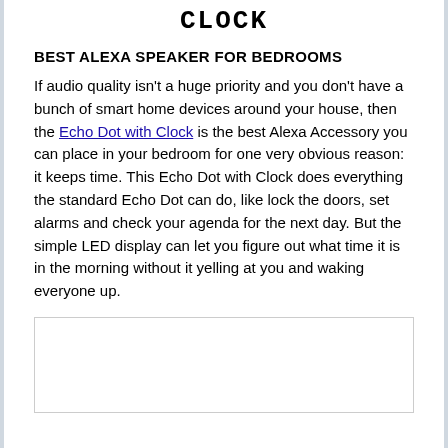Clock
BEST ALEXA SPEAKER FOR BEDROOMS
If audio quality isn't a huge priority and you don't have a bunch of smart home devices around your house, then the Echo Dot with Clock is the best Alexa Accessory you can place in your bedroom for one very obvious reason: it keeps time. This Echo Dot with Clock does everything the standard Echo Dot can do, like lock the doors, set alarms and check your agenda for the next day. But the simple LED display can let you figure out what time it is in the morning without it yelling at you and waking everyone up.
[Figure (other): Image placeholder box for Echo Dot with Clock product image]